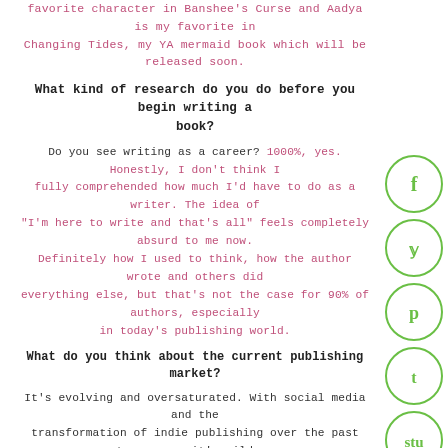favorite character in Banshee's Curse and Aadya is my favorite in Changing Tides, my YA mermaid book which will be released soon.
What kind of research do you do before you begin writing a book?
Do you see writing as a career? 1000%, yes. Honestly, I don't think I fully comprehended how much I'd have to do as a writer. The idea of "I'm here to write and that's all" feels completely absurd to me now. Definitely how I used to think, how the author wrote and others did everything else, but that's not the case for 90% of authors, especially in today's publishing world.
What do you think about the current publishing market?
It's evolving and oversaturated. With social media and the transformation of indie publishing over the past ten years, it's wild... and exciting, stressful, overwhelming, inspiring. I am able to accomplish things I would've never thought possible fifteen years ago. However, this does make it very difficult for authors to gain recognition in the current market. The best marketing will and always has been the readers. Authoring is the equivalent to running a small business, so all your readers out there, please know that reviews really help us out. So whatever author you love, definitely give them a